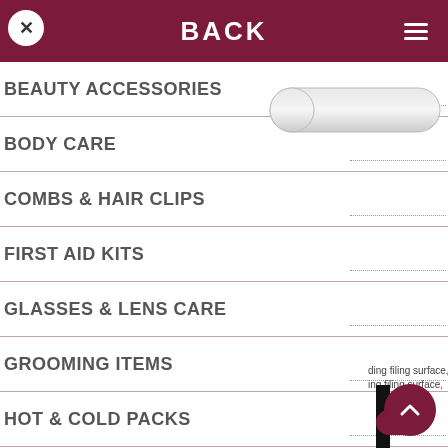BACK
BEAUTY ACCESSORIES
BODY CARE
COMBS & HAIR CLIPS
FIRST AID KITS
GLASSES & LENS CARE
GROOMING ITEMS
HOT & COLD PACKS
LIP BALM & LOTIONS
[Figure (photo): A white nail file / emery board shown at an angle]
ding filing surface, ing filing surface,
ist